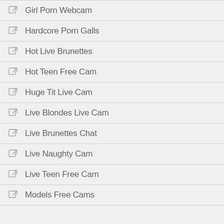Girl Porn Webcam
Hardcore Porn Galls
Hot Live Brunettes
Hot Teen Free Cam
Huge Tit Live Cam
Live Blondes Live Cam
Live Brunettes Chat
Live Naughty Cam
Live Teen Free Cam
Models Free Cams